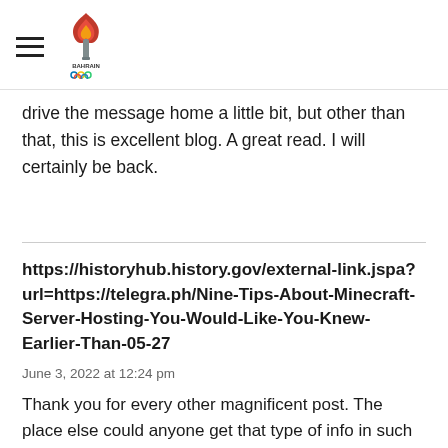Bahrain Olympic Committee logo with hamburger menu
drive the message home a little bit, but other than that, this is excellent blog. A great read. I will certainly be back.
https://historyhub.history.gov/external-link.jspa?url=https://telegra.ph/Nine-Tips-About-Minecraft-Server-Hosting-You-Would-Like-You-Knew-Earlier-Than-05-27
June 3, 2022 at 12:24 pm
Thank you for every other magnificent post. The place else could anyone get that type of info in such an ideal method of writing? I've a presentation subsequent week, and I'm on the look for such information.